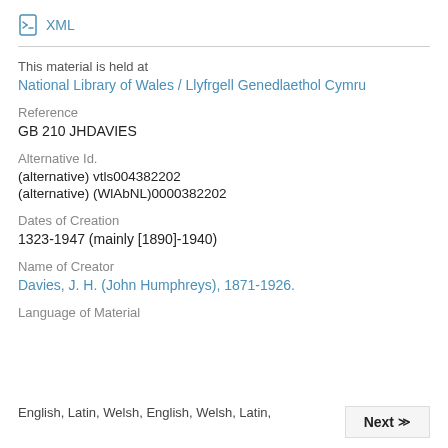XML
This material is held at
National Library of Wales / Llyfrgell Genedlaethol Cymru
Reference
GB 210 JHDAVIES
Alternative Id.
(alternative) vtls004382202
(alternative) (WlAbNL)0000382202
Dates of Creation
1323-1947 (mainly [1890]-1940)
Name of Creator
Davies, J. H. (John Humphreys), 1871-1926.
Language of Material
English, Latin, Welsh, English, Welsh, Latin,